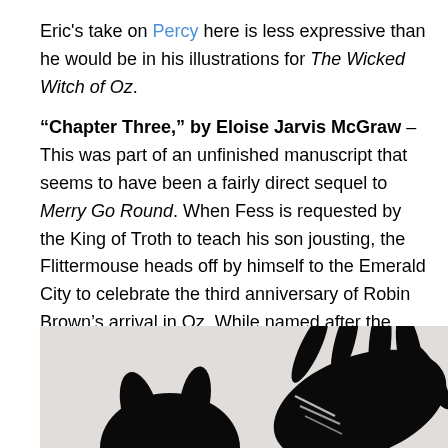Eric's take on Percy here is less expressive than he would be in his illustrations for The Wicked Witch of Oz.
"Chapter Three," by Eloise Jarvis McGraw – This was part of an unfinished manuscript that seems to have been a fairly direct sequel to Merry Go Round. When Fess is requested by the King of Troth to teach his son jousting, the Flittermouse heads off by himself to the Emerald City to celebrate the third anniversary of Robin Brown's arrival in Oz. While named after the German word for a bat, Flitter isn't exactly a bat or a mouse. He's captured by a giant bird called a Russet Meagle and ends up in the confusing Wilderness of Nnydd, where he's captured by a man who collects specimens of small animals.
[Figure (illustration): Black silhouette illustration showing a hand or creature with claw-like fingers against a light background, partially cropped at bottom of page.]